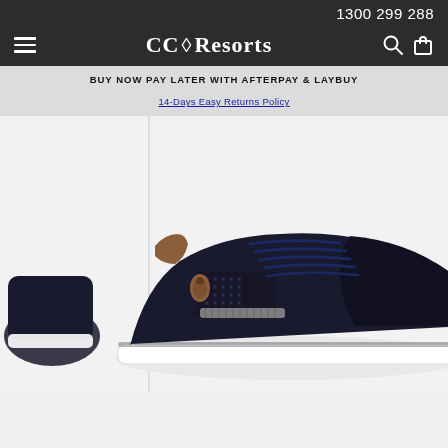1300 299 288
[Figure (logo): CC Resorts logo with diamond symbol between CC and Resorts, white text on dark background]
BUY NOW PAY LATER WITH AFTERPAY & LAYBUY
14-Days Easy Returns Policy
[Figure (photo): Navy blue sneaker shoe with brown leather heel accent, side zipper, perforated detail, lace-up front, and white sole. Partial view of another shoe on the left edge.]